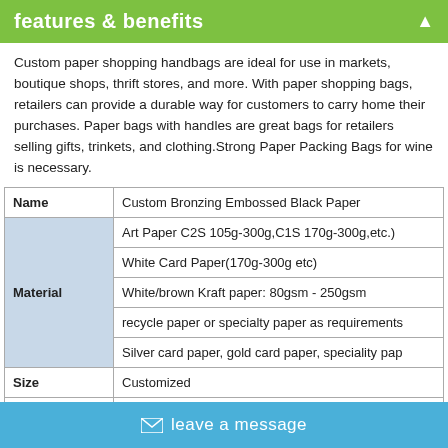features & benefits
Custom paper shopping handbags are ideal for use in markets, boutique shops, thrift stores, and more. With paper shopping bags, retailers can provide a durable way for customers to carry home their purchases. Paper bags with handles are great bags for retailers selling gifts, trinkets, and clothing.Strong Paper Packing Bags for wine is necessary.
| Name | Custom Bronzing Embossed Black Paper... |
| --- | --- |
| Material | Art Paper C2S 105g-300g,C1S 170g-300g,etc.) |
| Material | White Card Paper(170g-300g etc) |
| Material | White/brown Kraft paper: 80gsm - 250gsm |
| Material | recycle paper or specialty paper as requirements |
| Material | Silver card paper, gold card paper, speciality pap... |
| Size | Customized |
| Printing | CMYK,Pantone color,spot color or Customerized |
|  | Glossy/Matt lamination; glossy/matte oil vanishin... |
leave a message